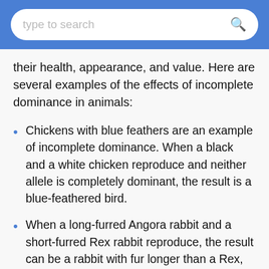type to search
their health, appearance, and value. Here are several examples of the effects of incomplete dominance in animals:
Chickens with blue feathers are an example of incomplete dominance. When a black and a white chicken reproduce and neither allele is completely dominant, the result is a blue-feathered bird.
When a long-furred Angora rabbit and a short-furred Rex rabbit reproduce, the result can be a rabbit with fur longer than a Rex, but shorter than an Angora. That's a classic example of